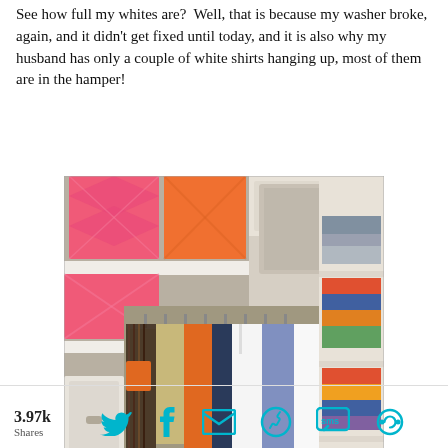See how full my whites are?  Well, that is because my washer broke, again, and it didn't get fixed until today, and it is also why my husband has only a couple of white shirts hanging up, most of them are in the hamper!
[Figure (photo): A well-organized walk-in closet with white shelving units. Pink and orange patterned fabric boxes on upper shelves, hanging shirts (white, blue, orange, khaki) on a rod in the center, folded colorful clothes on right shelves, and a drawer unit on the lower left.]
3.97k Shares